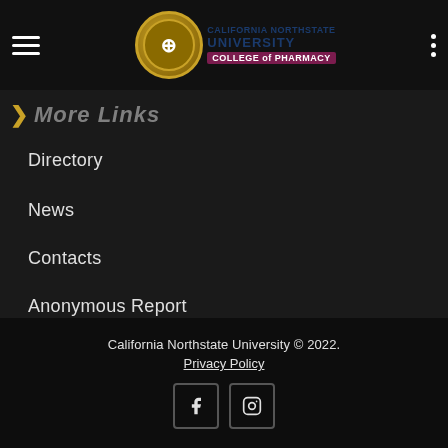California Northstate University – College of Pharmacy navigation header
More Links
Directory
News
Contacts
Anonymous Report
Make a Gift
California Northstate University © 2022. Privacy Policy